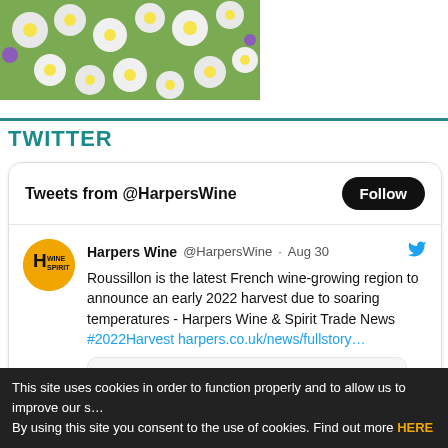[Figure (photo): Photograph of white flowers/daisies with green foliage, cropped at top of page]
TWITTER
[Figure (screenshot): Twitter widget showing tweets from @HarpersWine with a Follow button]
Tweets from @HarpersWine
Harpers Wine @HarpersWine · Aug 30
Roussillon is the latest French wine-growing region to announce an early 2022 harvest due to soaring temperatures - Harpers Wine & Spirit Trade News #2022Harvest harpers.co.uk/news/fullstory…
This site uses cookies in order to function properly and to allow us to improve our s… By using this site you consent to the use of cookies. Find out more HERE